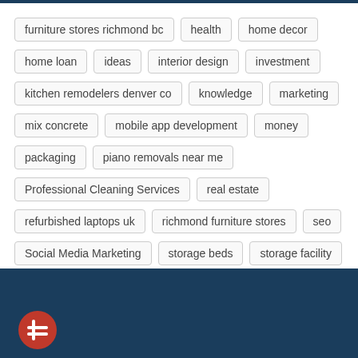furniture stores richmond bc
health
home decor
home loan
ideas
interior design
investment
kitchen remodelers denver co
knowledge
marketing
mix concrete
mobile app development
money
packaging
piano removals near me
Professional Cleaning Services
real estate
refurbished laptops uk
richmond furniture stores
seo
Social Media Marketing
storage beds
storage facility
styles
technology
travel
used laptops
[Figure (logo): Website footer with dark navy blue background and a partial logo/icon visible at the bottom left]